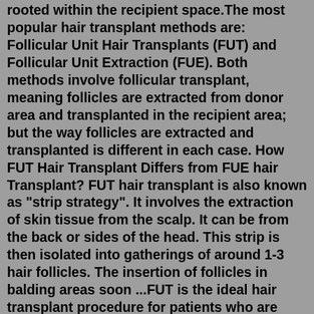rooted within the recipient space.The most popular hair transplant methods are: Follicular Unit Hair Transplants (FUT) and Follicular Unit Extraction (FUE). Both methods involve follicular transplant, meaning follicles are extracted from donor area and transplanted in the recipient area; but the way follicles are extracted and transplanted is different in each case. How FUT Hair Transplant Differs from FUE hair Transplant? FUT hair transplant is also known as "strip strategy". It involves the extraction of skin tissue from the scalp. It can be from the back or sides of the head. This strip is then isolated into gatherings of around 1-3 hair follicles. The insertion of follicles in balding areas soon ...FUT is the ideal hair transplant procedure for patients who are suffering from severe hair loss and need a large number of grafts to achieve the desired result. Not only can the procedure be done more quickly it can also deliver a much higher yield and density as our doctors can extract more grafts during a single